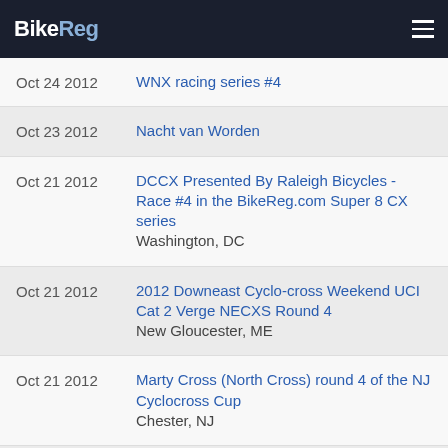BikeReg
Oct 24 2012 | WNX racing series #4
Oct 23 2012 | Nacht van Worden
Oct 21 2012 | DCCX Presented By Raleigh Bicycles - Race #4 in the BikeReg.com Super 8 CX series | Washington, DC
Oct 21 2012 | 2012 Downeast Cyclo-cross Weekend UCI Cat 2 Verge NECXS Round 4 | New Gloucester, ME
Oct 21 2012 | Marty Cross (North Cross) round 4 of the NJ Cyclocross Cup | Chester, NJ
Oct 21 2012 | Parma Cyclocross | Rochester, NY